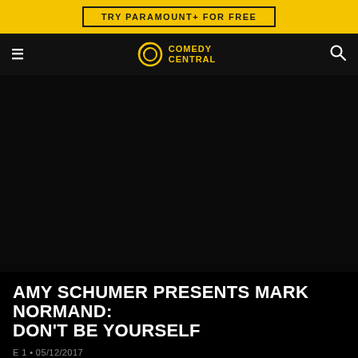TRY PARAMOUNT+ FOR FREE
Comedy Central
[Figure (screenshot): Dark black video player area, no content visible]
AMY SCHUMER PRESENTS MARK NORMAND: DON'T BE YOURSELF
E 1 • 05/12/2017
Mark Normand dives deep into the neuroses of modern
MORE